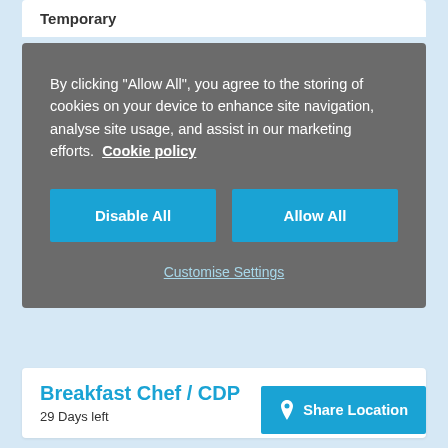Temporary
By clicking "Allow All", you agree to the storing of cookies on your device to enhance site navigation, analyse site usage, and assist in our marketing efforts.  Cookie policy
Disable All
Allow All
Customise Settings
£14 per Hour
Temporary
View details
Breakfast Chef / CDP
29 Days left
Share Location